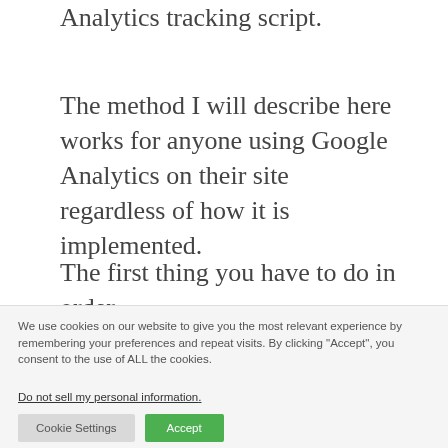Analytics tracking script.
The method I will describe here works for anyone using Google Analytics on their site regardless of how it is implemented.
The first thing you have to do in order
We use cookies on our website to give you the most relevant experience by remembering your preferences and repeat visits. By clicking "Accept", you consent to the use of ALL the cookies.
Do not sell my personal information.